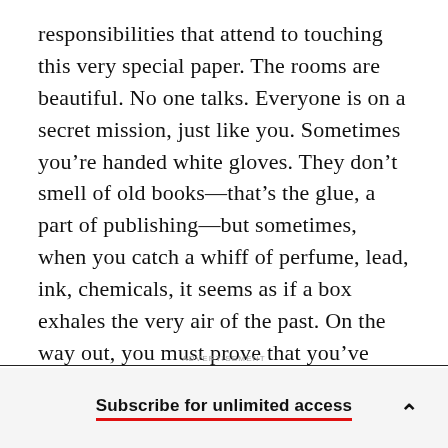responsibilities that attend to touching this very special paper. The rooms are beautiful. No one talks. Everyone is on a secret mission, just like you. Sometimes you're handed white gloves. They don't smell of old books—that's the glue, a part of publishing—but sometimes, when you catch a whiff of perfume, lead, ink, chemicals, it seems as if a box exhales the very air of the past. On the way out, you must prove that you've stolen nothing from the boxes kept in the vaults. Paper more valuable than gold! (Inhales dust.)
Subscribe for unlimited access